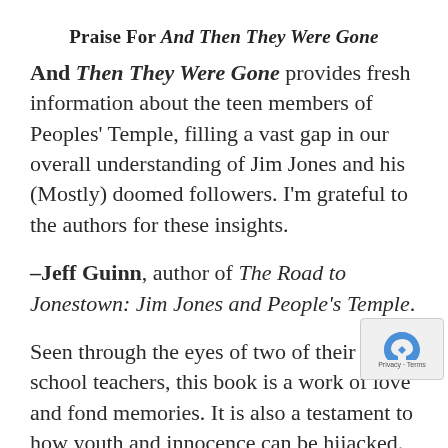Praise For And Then They Were Gone
And Then They Were Gone provides fresh information about the teen members of Peoples' Temple, filling a vast gap in our overall understanding of Jim Jones and his (Mostly) doomed followers. I'm grateful to the authors for these insights.
–Jeff Guinn, author of The Road to Jonestown: Jim Jones and People's Temple.
Seen through the eyes of two of their high school teachers, this book is a work of love and fond memories. It is also a testament to how youth and innocence can be hijacked. The d… cannot speak, yet Bebelaar and Cabral have done